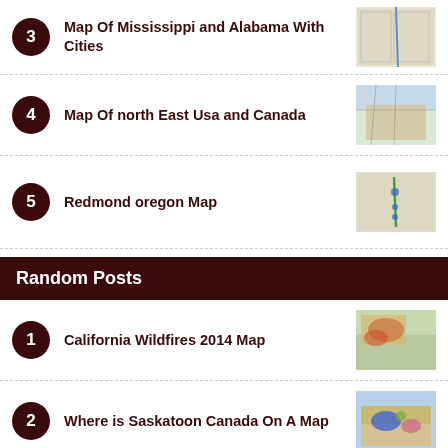3 Map Of Mississippi and Alabama With Cities
4 Map Of north East Usa and Canada
5 Redmond oregon Map
Random Posts
1 California Wildfires 2014 Map
2 Where is Saskatoon Canada On A Map
3 Map Of Denia area Spain